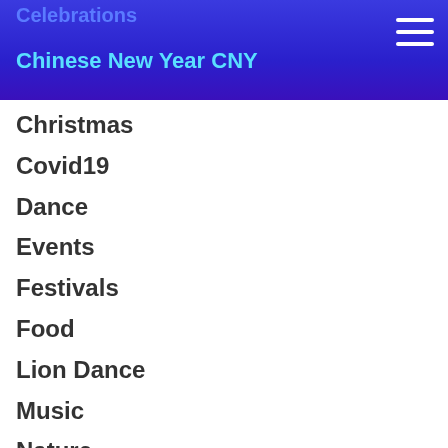Celebrations
Chinese New Year CNY
Christmas
Covid19
Dance
Events
Festivals
Food
Lion Dance
Music
Nature
Perth
Random